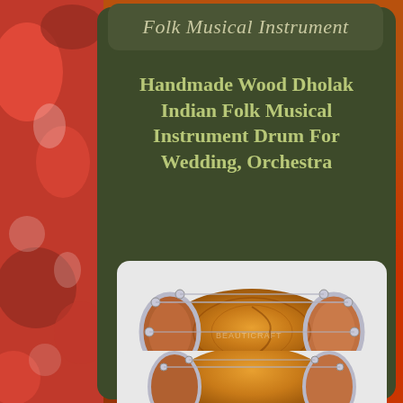Folk Musical Instrument
Handmade Wood Dholak Indian Folk Musical Instrument Drum For Wedding, Orchestra
[Figure (photo): A handmade wooden Dholak drum shown from above/side angle, orange-brown wood body with silver metal hardware and tension rods, on white background with eBay watermark]
[Figure (photo): Partial view of another Dholak drum, same style, partially cropped at bottom of page]